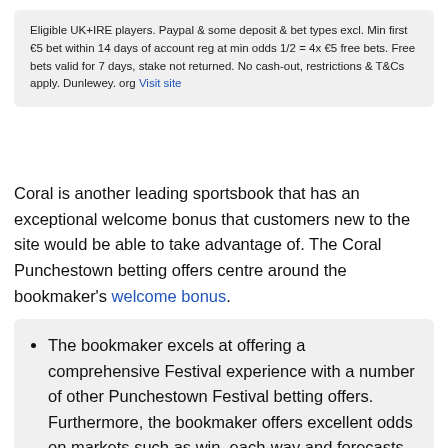Eligible UK+IRE players. Paypal & some deposit & bet types excl. Min first €5 bet within 14 days of account reg at min odds 1/2 = 4x €5 free bets. Free bets valid for 7 days, stake not returned. No cash-out, restrictions & T&Cs apply. Dunlewey. org Visit site
Coral is another leading sportsbook that has an exceptional welcome bonus that customers new to the site would be able to take advantage of. The Coral Punchestown betting offers centre around the bookmaker's welcome bonus.
The bookmaker excels at offering a comprehensive Festival experience with a number of other Punchestown Festival betting offers. Furthermore, the bookmaker offers excellent odds on markets such as win, each-way and forecasts. Multiple bets can also be placed at Coral.